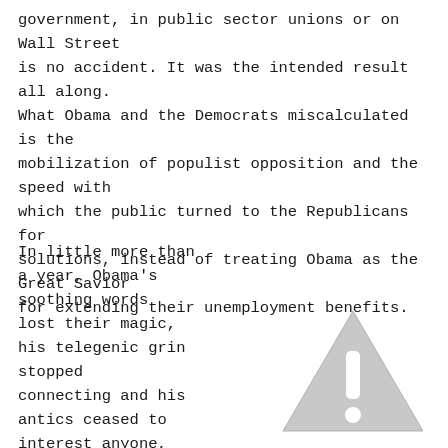government, in public sector unions or on Wall Street is no accident. It was the intended result all along. What Obama and the Democrats miscalculated is the mobilization of populist opposition and the speed with which the public turned to the Republicans for solutions, instead of treating Obama as the Great Savior for extending their unemployment benefits.
In little more than a year, Obama's soothing words lost their magic, his telegenic grin stopped connecting and his antics ceased to interest anyone,
[Figure (illustration): A grey warning triangle icon with an exclamation mark inside]